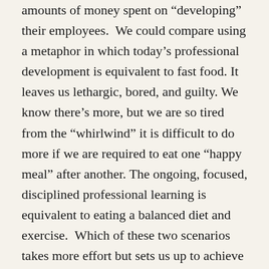amounts of money spent on “developing” their employees. We could compare using a metaphor in which today’s professional development is equivalent to fast food. It leaves us lethargic, bored, and guilty. We know there’s more, but we are so tired from the “whirlwind” it is difficult to do more if we are required to eat one “happy meal” after another. The ongoing, focused, disciplined professional learning is equivalent to eating a balanced diet and exercise. Which of these two scenarios takes more effort but sets us up to achieve our goals long term? We not only begin to think clearly, but we gain trust in ourselves, our organizations, and hope for a better future. Much